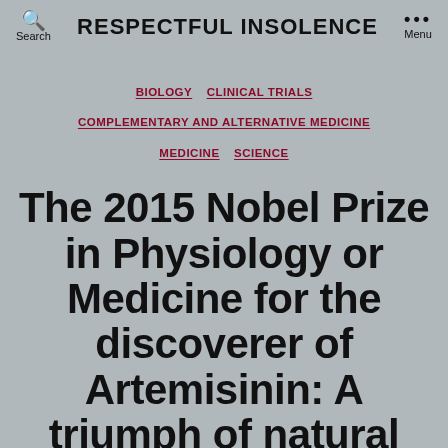RESPECTFUL INSOLENCE
BIOLOGY  CLINICAL TRIALS  COMPLEMENTARY AND ALTERNATIVE MEDICINE  MEDICINE  SCIENCE
The 2015 Nobel Prize in Physiology or Medicine for the discoverer of Artemisinin: A triumph of natural product pharmacology, not traditional Chinese